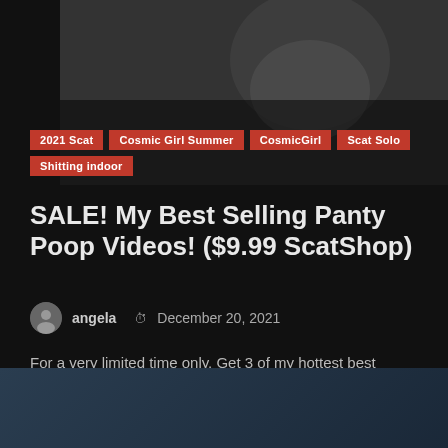[Figure (photo): Dark photo of a person sitting on a dark couch/sofa, wearing light-colored clothing]
2021 Scat
Cosmic Girl Summer
CosmicGirl
Scat Solo
Shitting indoor
SALE! My Best Selling Panty Poop Videos! ($9.99 ScatShop)
angela   December 20, 2021
For a very limited time only, Get 3 of my hottest best selling panty poop videos for…
Read More
[Figure (photo): Dark blue-toned photo at the bottom of the page, partially visible]